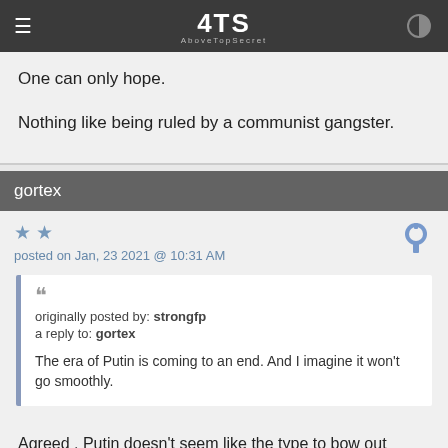AboveTopSecret
One can only hope.

Nothing like being ruled by a communist gangster.
gortex
posted on Jan, 23 2021 @ 10:31 AM
originally posted by: strongfp
a reply to: gortex

The era of Putin is coming to an end. And I imagine it won't go smoothly.
Agreed , Putin doesn't seem like the type to bow out gracefully and I Imagine the military is largely behind him .